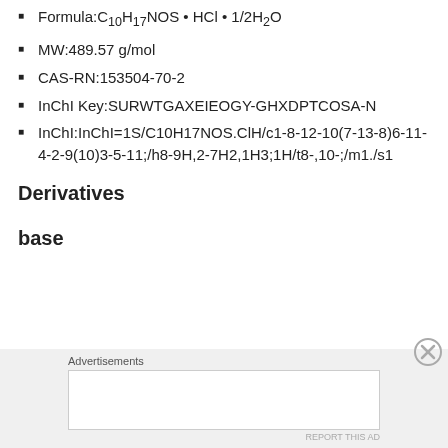Formula:C10H17NOS • HCl • 1/2H2O
MW:489.57 g/mol
CAS-RN:153504-70-2
InChI Key:SURWTGAXEIEOGY-GHXDPTCOSA-N
InChI:InChI=1S/C10H17NOS.ClH/c1-8-12-10(7-13-8)6-11-4-2-9(10)3-5-11;/h8-9H,2-7H2,1H3;1H/t8-,10-;/m1./s1
Derivatives
base
Advertisements